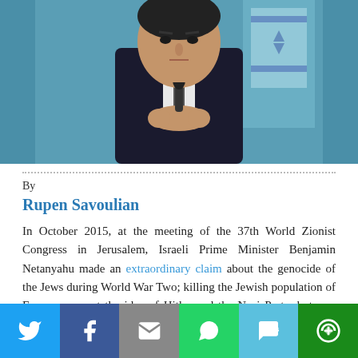[Figure (photo): Photo of Israeli Prime Minister Benjamin Netanyahu in a dark suit, hands clasped in front, with a microphone visible and an Israeli flag in the background]
By
Rupen Savoulian
In October 2015, at the meeting of the 37th World Zionist Congress in Jerusalem, Israeli Prime Minister Benjamin Netanyahu made an extraordinary claim about the genocide of the Jews during World War Two; killing the Jewish population of Europe was not the idea of Hitler and the Nazi Party, but was originally espoused by the Palestinian cleric and national leader